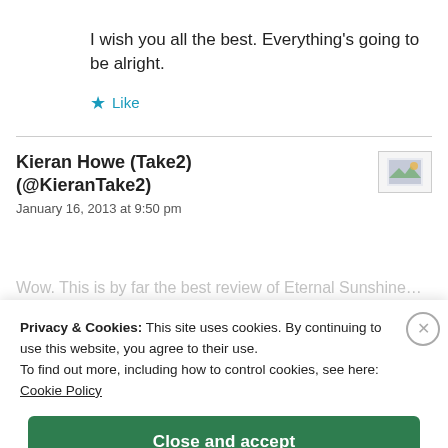I wish you all the best. Everything's going to be alright.
★ Like
Kieran Howe (Take2) (@KieranTake2)
January 16, 2013 at 9:50 pm
Privacy & Cookies: This site uses cookies. By continuing to use this website, you agree to their use. To find out more, including how to control cookies, see here: Cookie Policy
Close and accept